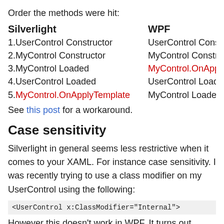Order the methods were hit:
Silverlight | WPF (column headers)
1.UserControl Constructor | UserControl Constructor
2.MyControl Constructor | MyControl Constructor
3.MyControl Loaded | MyControl.OnApplyTemplate
4.UserControl Loaded | UserControl Loaded
5.MyControl.OnApplyTemplate | MyControl Loaded
See this post for a workaround.
Case sensitivity
Silverlight in general seems less restrictive when it comes to your XAML. For instance case sensitivity. I was recently trying to use a class modifier on my UserControl using the following:
<UserControl x:ClassModifier="Internal">
However this doesn't work in WPF. It turns out